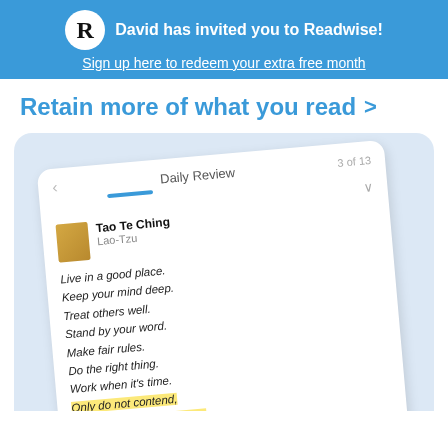David has invited you to Readwise!
Sign up here to redeem your extra free month
Retain more of what you read >
[Figure (screenshot): Screenshot of the Readwise mobile app showing a Daily Review card (3 of 13) with a quote from Tao Te Ching by Lao-Tzu. The quote reads: 'Live in a good place. Keep your mind deep. Treat others well. Stand by your word. Make fair rules. Do the right thing. Work when it's time. Only do not contend, And you will not go wrong.' The last two lines are highlighted in yellow. The card is shown at a slight angle on a light blue background.]